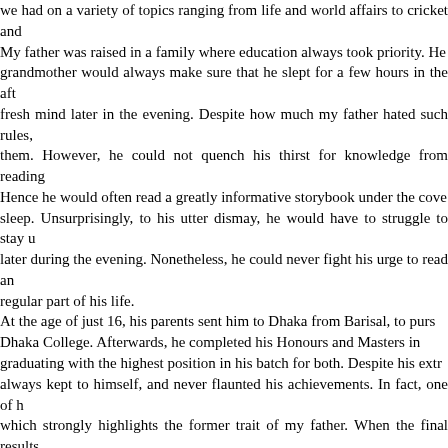we had on a variety of topics ranging from life and world affairs to cricket and... My father was raised in a family where education always took priority. He... grandmother would always make sure that he slept for a few hours in the aft... fresh mind later in the evening. Despite how much my father hated such rules,... them. However, he could not quench his thirst for knowledge from reading... Hence he would often read a greatly informative storybook under the cove... sleep. Unsurprisingly, to his utter dismay, he would have to struggle to stay u... later during the evening. Nonetheless, he could never fight his urge to read an... regular part of his life. At the age of just 16, his parents sent him to Dhaka from Barisal, to purs... Dhaka College. Afterwards, he completed his Honours and Masters in... graduating with the highest position in his batch for both. Despite his extr... always kept to himself, and never flaunted his achievements. In fact, one of h... which strongly highlights the former trait of my father. When the final results... were released, everyone in his department was crowding around to know hi... reading in the library. When his friend came running to him and informed him... my father simply said "Oh, thanks for taking the trouble to let me know," a... example shows how my father loved learning for the sake of learning. It... extolled. He just simply enjoyed garnering knowledge. After his Masters, he received an extremely competitive scholarship from the... PhD in Comparative Literature from Sorbonne University. In those 6 years, he... raising the total number of languages he knew to 14: English, Bengali, Fren... Norwegian, Hungarian, Portuguese, Arabic, Persian, Sanskrit, and Urdu. He... French. Because of his fervent ardour for learning, he sought to decipher lite... languages. Hence, he opted to self-teach himself, and became fluent in thos... time. I cannot even imagine the amount of dedication he had in order to do... titled 'Teach yourself' at home. Other than being engulfed in a sea of knowledge, Dr Jahangir Tareque was a...